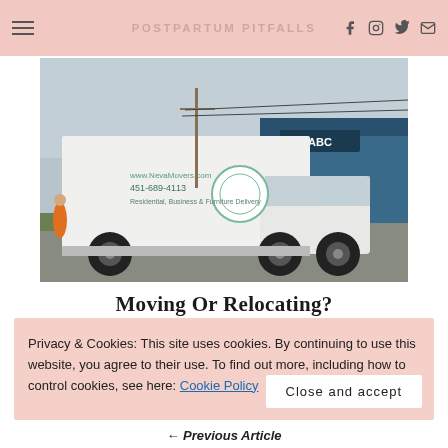POSTPARTUM PITFALLS
[Figure (photo): A white moving truck with branding for a moving company (website, phone number 451-689-4113, 'Residential, Business & Furniture Delivery') parked in a lot next to a blue commercial building. A person in orange is visible to the left.]
Moving Or Relocating? Keep It Simple!
Privacy & Cookies: This site uses cookies. By continuing to use this website, you agree to their use. To find out more, including how to control cookies, see here: Cookie Policy
Close and accept
← Previous Article